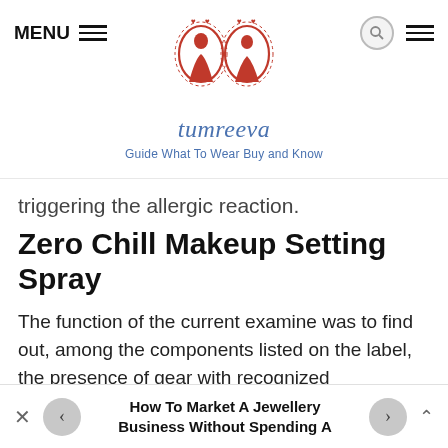MENU | tumreeva | Guide What To Wear Buy and Know
triggering the allergic reaction.
Zero Chill Makeup Setting Spray
The function of the current examine was to find out, among the components listed on the label, the presence of gear with recognized antagonistic health results in commonly used personal care and beauty products. We considered fragrances, preservatives and
How To Market A Jewellery Business Without Spending A